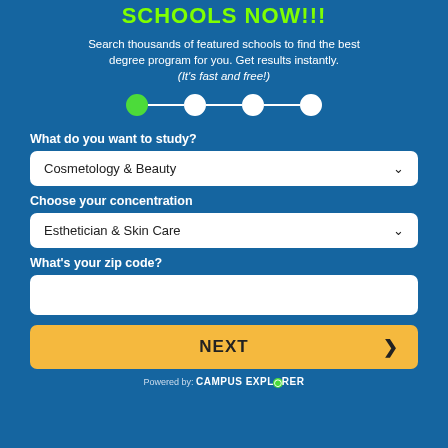SCHOOLS NOW!!!
Search thousands of featured schools to find the best degree program for you. Get results instantly. (It's fast and free!)
[Figure (infographic): Progress step indicator with 4 circles connected by lines; first circle is green (active), remaining three are white]
What do you want to study?
Cosmetology & Beauty
Choose your concentration
Esthetician & Skin Care
What's your zip code?
NEXT
Powered by: CAMPUS EXPLORER